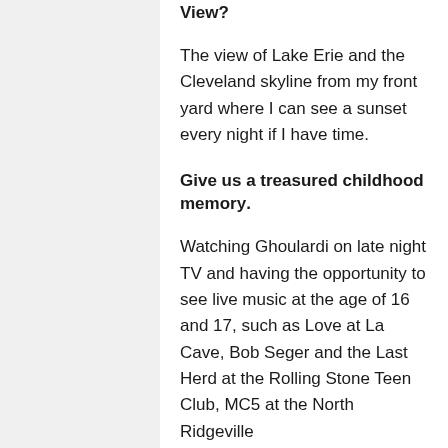View?
The view of Lake Erie and the Cleveland skyline from my front yard where I can see a sunset every night if I have time.
Give us a treasured childhood memory.
Watching Ghoulardi on late night TV and having the opportunity to see live music at the age of 16 and 17, such as Love at La Cave, Bob Seger and the Last Herd at the Rolling Stone Teen Club, MC5 at the North Ridgeville